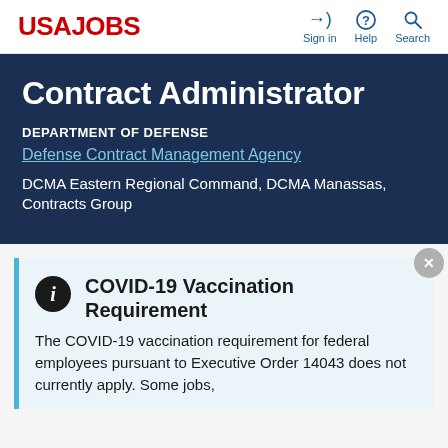USAJOBS | Sign in | Help | Search
Contract Administrator
DEPARTMENT OF DEFENSE
Defense Contract Management Agency
DCMA Eastern Regional Command, DCMA Manassas, Contracts Group
COVID-19 Vaccination Requirement
The COVID-19 vaccination requirement for federal employees pursuant to Executive Order 14043 does not currently apply. Some jobs,